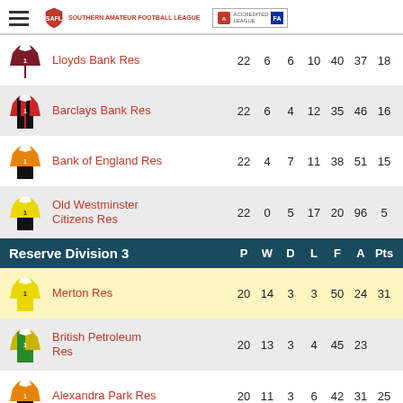Southern Amateur Football League
|  | Team | P | W | D | L | F | A | Pts |
| --- | --- | --- | --- | --- | --- | --- | --- | --- |
| [kit] | Lloyds Bank Res | 22 | 6 | 6 | 10 | 40 | 37 | 18 |
| [kit] | Barclays Bank Res | 22 | 6 | 4 | 12 | 35 | 46 | 16 |
| [kit] | Bank of England Res | 22 | 4 | 7 | 11 | 38 | 51 | 15 |
| [kit] | Old Westminster Citizens Res | 22 | 0 | 5 | 17 | 20 | 96 | 5 |
Reserve Division 3  P  W  D  L  F  A  Pts
|  | Team | P | W | D | L | F | A | Pts |
| --- | --- | --- | --- | --- | --- | --- | --- | --- |
| [kit] | Merton Res | 20 | 14 | 3 | 3 | 50 | 24 | 31 |
| [kit] | British Petroleum Res | 20 | 13 | 3 | 4 | 45 | 23 |  |
| [kit] | Alexandra Park Res | 20 | 11 | 3 | 6 | 42 | 31 | 25 |
| [kit] | Old Parkonians Res | 20 | 11 | 2 | 7 | 56 | 31 | 24 |